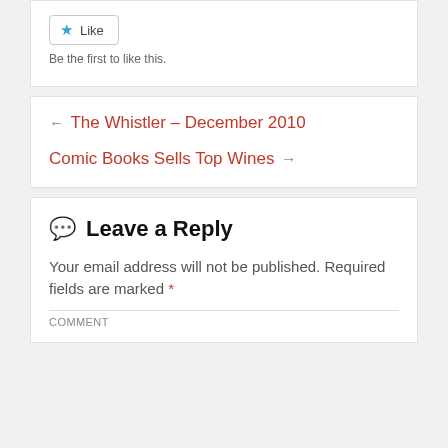[Figure (other): Like button widget with blue star icon and 'Like' text, followed by 'Be the first to like this.' text below]
Be the first to like this.
← The Whistler – December 2010
Comic Books Sells Top Wines →
Leave a Reply
Your email address will not be published. Required fields are marked *
COMMENT